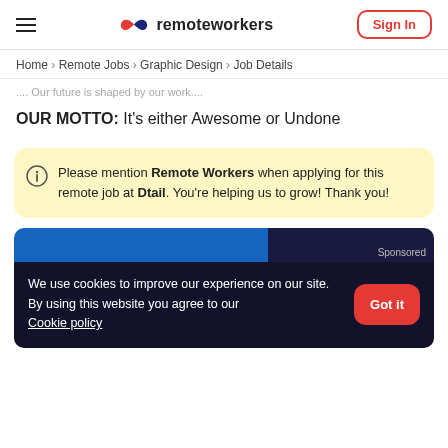remoteworkers | Sign In
Home > Remote Jobs > Graphic Design > Job Details
... Our future is shaped by our work...
OUR MOTTO: It's either Awesome or Undone
Please mention Remote Workers when applying for this remote job at Dtail. You're helping us to grow! Thank you!
[Figure (screenshot): Sponsored ad banner with blue and dark navy sections, 'Sponsored' label in top right]
We use cookies to improve our experience on our site. By using this website you agree to our Cookie policy